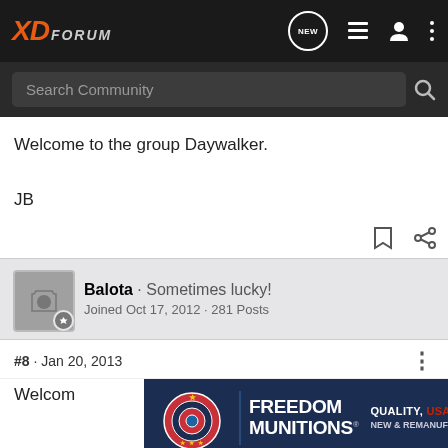XD Forum
Search Community
Welcome to the group Daywalker.

JB
Balota · Sometimes lucky!
Joined Oct 17, 2012 · 281 Posts
#8 · Jan 20, 2013
Welcom
[Figure (screenshot): Freedom Munitions advertisement banner: FREEDOM MUNITIONS - QUALITY, USA MADE AMMO, NEW & REMANUFACTURED]